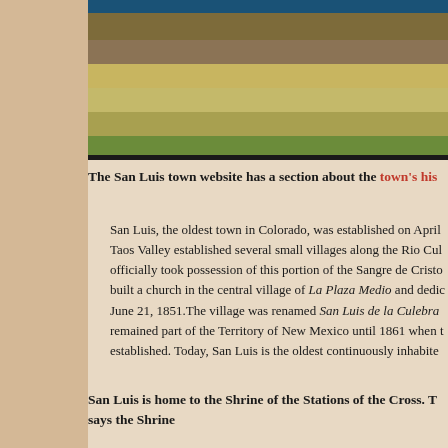[Figure (photo): Outdoor photograph showing a stone wall with dried grasses/plants in foreground, blue sign visible at top, natural landscape setting]
The San Luis town website has a section about the town's his
San Luis, the oldest town in Colorado, was established on April Taos Valley established several small villages along the Rio Cul officially took possession of this portion of the Sangre de Cristo built a church in the central village of La Plaza Medio and dedi June 21, 1851.The village was renamed San Luis de la Culebra remained part of the Territory of New Mexico until 1861 when t established. Today, San Luis is the oldest continuously inhabite
San Luis is home to the Shrine of the Stations of the Cross. T says the Shrine